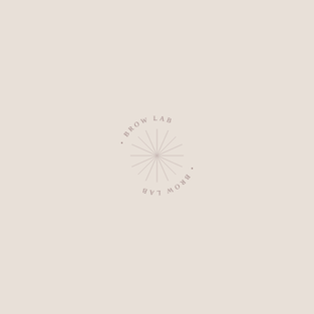[Figure (logo): Circular stamp logo reading 'BROW LAB' twice around the circumference, with decorative dots as separators, rendered in muted mauve/rose tone on a warm beige background. The text curves around a circle both in the upper arc and lower arc (inverted), creating a full circular ring of text.]